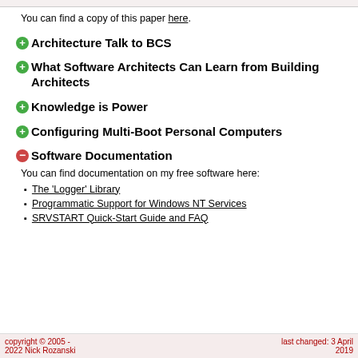You can find a copy of this paper here.
Architecture Talk to BCS
What Software Architects Can Learn from Building Architects
Knowledge is Power
Configuring Multi-Boot Personal Computers
Software Documentation
You can find documentation on my free software here:
The 'Logger' Library
Programmatic Support for Windows NT Services
SRVSTART Quick-Start Guide and FAQ
copyright © 2005 - 2022 Nick Rozanski    last changed: 3 April 2019